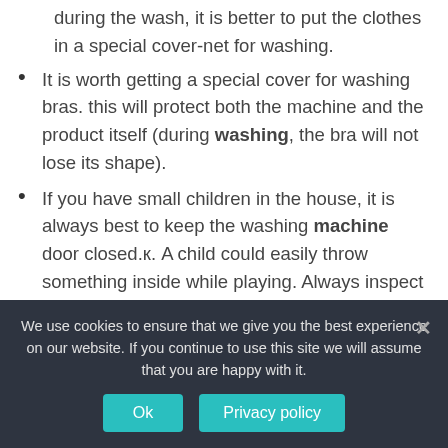during the wash, it is better to put the clothes in a special cover-net for washing.
It is worth getting a special cover for washing bras. this will protect both the machine and the product itself (during washing, the bra will not lose its shape).
If you have small children in the house, it is always best to keep the washing machine door closed.к. A child could easily throw something inside while playing. Always inspect the drum before washing.
If you closely monitor the clothes that a person throws into the wash, the likelihood of a foreign object in the drum and deeper will be reduced to zero.
We use cookies to ensure that we give you the best experience on our website. If you continue to use this site we will assume that you are happy with it.